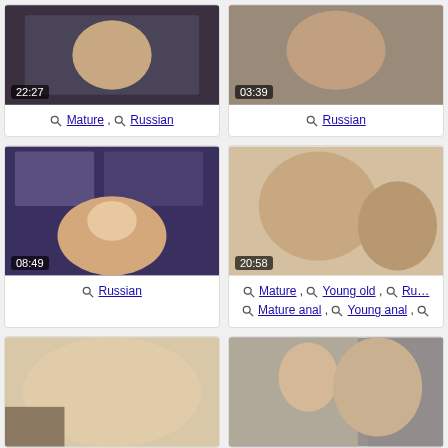[Figure (screenshot): Video thumbnail top-left with timestamp 22:27]
Mature , Russian
[Figure (screenshot): Video thumbnail top-right with timestamp 03:39]
Russian
[Figure (screenshot): Video thumbnail middle-left with timestamp 08:49]
Russian
[Figure (screenshot): Video thumbnail middle-right with timestamp 20:58]
Mature , Young old , Ru... , Mature anal , Young anal ,
[Figure (screenshot): Video thumbnail bottom-left, no timestamp visible]
[Figure (screenshot): Video thumbnail bottom-right, no timestamp visible]